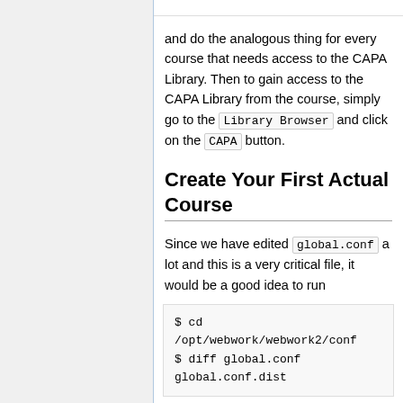and do the analogous thing for every course that needs access to the CAPA Library. Then to gain access to the CAPA Library from the course, simply go to the Library Browser and click on the CAPA button.
Create Your First Actual Course
Since we have edited global.conf a lot and this is a very critical file, it would be a good idea to run
[Figure (screenshot): Code block showing: $ cd /opt/webwork/webwork2/conf $ diff global.conf global.conf.dist]